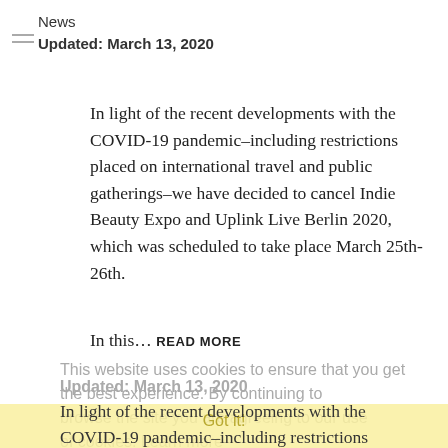News
Updated: March 13, 2020
In light of the recent developments with the COVID-19 pandemic–including restrictions placed on international travel and public gatherings–we have decided to cancel Indie Beauty Expo and Uplink Live Berlin 2020, which was scheduled to take place March 25th-26th.
In this... READ MORE
This website uses cookies to ensure that you get the best experience. By continuing to browse the site you are agreeing to our use of cookies. Learn more
Updated: March 13, 2020
In light of the recent developments with the COVID-19 pandemic–including restrictions placed on international travel and public gatherings–we have decided to cancel Indie Beauty Expo and Uplink Live Berlin 2020, which